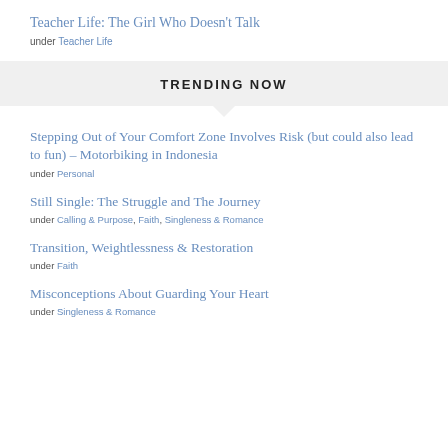Teacher Life: The Girl Who Doesn't Talk
under Teacher Life
TRENDING NOW
Stepping Out of Your Comfort Zone Involves Risk (but could also lead to fun) – Motorbiking in Indonesia
under Personal
Still Single: The Struggle and The Journey
under Calling & Purpose, Faith, Singleness & Romance
Transition, Weightlessness & Restoration
under Faith
Misconceptions About Guarding Your Heart
under Singleness & Romance